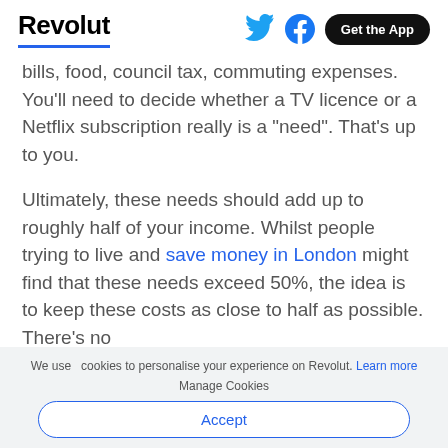Revolut | Get the App
bills, food, council tax, commuting expenses. You'll need to decide whether a TV licence or a Netflix subscription really is a "need". That's up to you.
Ultimately, these needs should add up to roughly half of your income. Whilst people trying to live and save money in London might find that these needs exceed 50%, the idea is to keep these costs as close to half as possible. There's no
We use cookies to personalise your experience on Revolut. Learn more
Manage Cookies
Accept